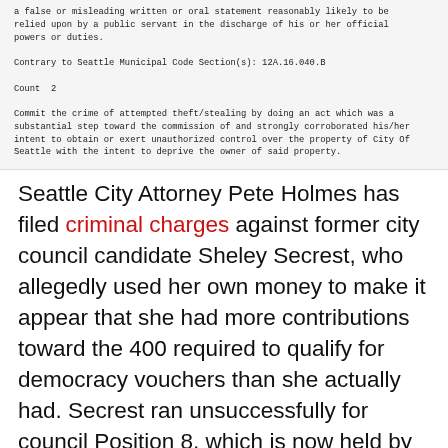a false or misleading written or oral statement reasonably likely to be relied upon by a public servant in the discharge of his or her official powers or duties.

Contrary to Seattle Municipal Code Section(s): 12A.16.040.B

Count  2

Commit the crime of attempted theft/stealing by doing an act which was a substantial step toward the commission of and strongly corroborated his/her intent to obtain or exert unauthorized control over the property of City Of Seattle with the intent to deprive the owner of said property.
Seattle City Attorney Pete Holmes has filed criminal charges against former city council candidate Sheley Secrest, who allegedly used her own money to make it appear that she had more contributions toward the 400 required to qualify for democracy vouchers than she actually had. Secrest ran unsuccessfully for council Position 8, which is now held by Teresa Mosqueda, last year.
The charges include one misdemeanor charge of false reporting, which relates to the false reports